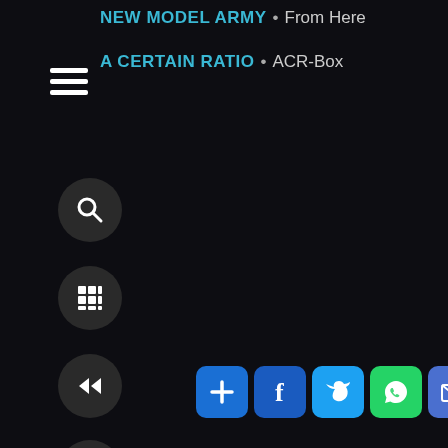NEW MODEL ARMY • From Here
A CERTAIN RATIO • ACR-Box
[Figure (screenshot): Dark app UI with hamburger menu icon, search button, grid/browse button, rewind button, fast-forward button, and social sharing bar with Add, Facebook, Twitter, WhatsApp, Mail, Pinterest icons]